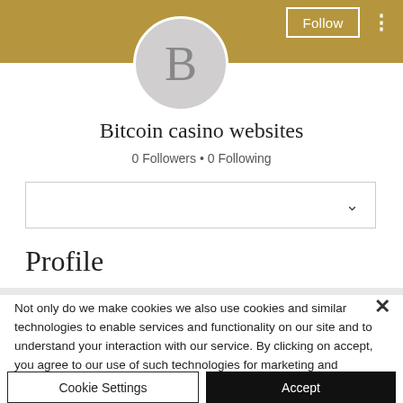[Figure (screenshot): Social media profile page screenshot showing a gold/tan banner header with Follow button and three-dot menu, a circular avatar with letter B, profile name Bitcoin casino websites, follower counts, a dropdown selector, and a Profile section header]
Bitcoin casino websites
0 Followers • 0 Following
Profile
Not only do we make cookies we also use cookies and similar technologies to enable services and functionality on our site and to understand your interaction with our service. By clicking on accept, you agree to our use of such technologies for marketing and analytics. See Privacy Policy